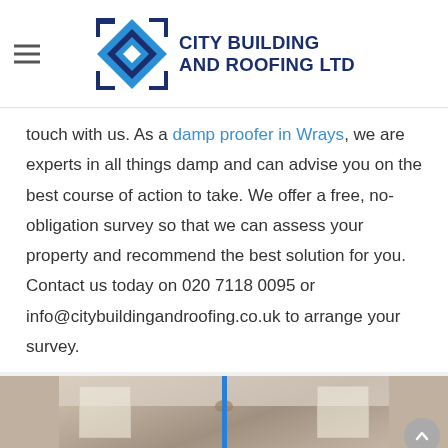CITY BUILDING AND ROOFING LTD
touch with us. As a damp proofer in Wrays, we are experts in all things damp and can advise you on the best course of action to take. We offer a free, no-obligation survey so that we can assess your property and recommend the best solution for you. Contact us today on 020 7118 0095 or info@citybuildingandroofing.co.uk to arrange your survey.
[Figure (photo): Interior room photo showing ceiling with pendant light fixture and window, with a blue vertical bar overlay in the center]